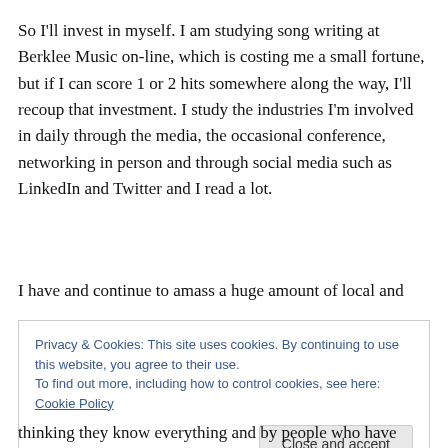So I'll invest in myself. I am studying song writing at Berklee Music on-line, which is costing me a small fortune, but if I can score 1 or 2 hits somewhere along the way, I'll recoup that investment. I study the industries I'm involved in daily through the media, the occasional conference, networking in person and through social media such as LinkedIn and Twitter and I read a lot.
I have and continue to amass a huge amount of local and
Privacy & Cookies: This site uses cookies. By continuing to use this website, you agree to their use.
To find out more, including how to control cookies, see here: Cookie Policy
thinking they know everything and by people who have